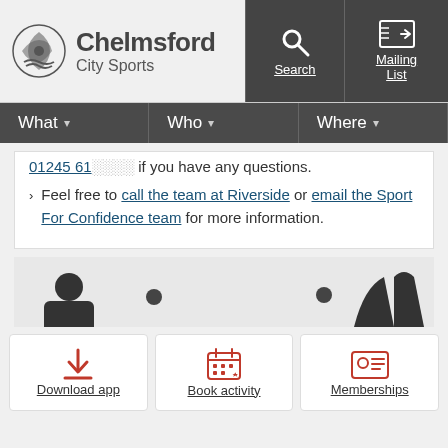Chelmsford City Sports - Search - Mailing List
What | Who | Where
... if you have any questions.
Feel free to call the team at Riverside or email the Sport For Confidence team for more information.
[Figure (other): Gray band with partial silhouette illustrations]
Download app
Book activity
Memberships